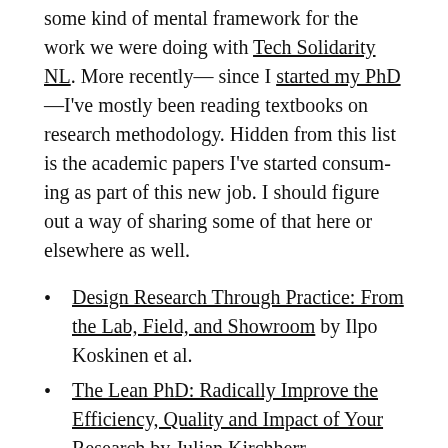some kind of mental framework for the work we were doing with Tech Solidarity NL. More recently—since I started my PhD—I've mostly been reading textbooks on research methodology. Hidden from this list is the academic papers I've started consuming as part of this new job. I should figure out a way of sharing some of that here or elsewhere as well.
Design Research Through Practice: From the Lab, Field, and Showroom by Ilpo Koskinen et al.
The Lean PhD: Radically Improve the Efficiency, Quality and Impact of Your Research by Julian Kirchherr
Researching Information Systems and Computing by Briony J. Oates
Play Anything: The Pleasure of Limits, the Uses of Boredom, and the Secret of Games by Ian Bogost
Democracy at Work: A Cure for Capitalism by Richard D. Wolff